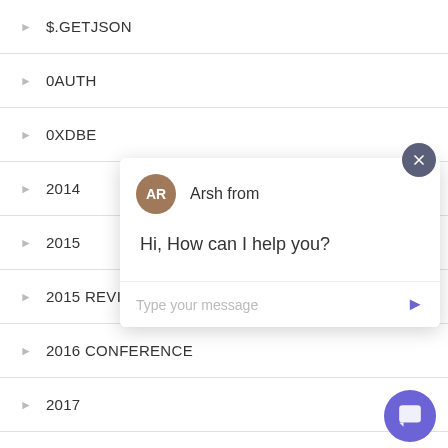$.GETJSON
0AUTH
0XDBE
2014
2015
2015 REVIEW
2016 CONFERENCE
2017
24WAYS
[Figure (screenshot): Chat widget popup showing agent 'Arsh from' with avatar initials AR and message 'Hi, How can I help you?' with a text input field and send button. A purple chat button is visible at bottom right, and a close button at top right.]